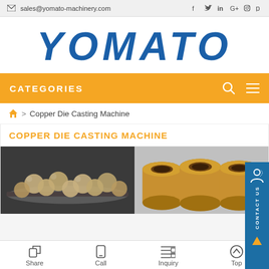sales@yomato-machinery.com  [social icons: facebook, twitter, linkedin, google+, instagram, pinterest]
[Figure (logo): YOMATO company logo in bold italic blue text]
CATEGORIES
Home > Copper Die Casting Machine
COPPER DIE CASTING MACHINE
[Figure (photo): Two photos of copper die cast parts: left shows spherical copper castings on a tray, right shows cylindrical copper bushings]
Share   Call   Inquiry   Top